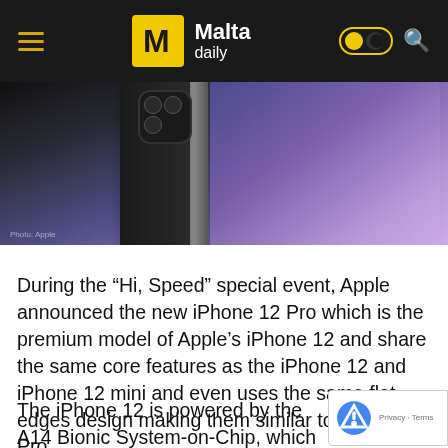Malta daily
[Figure (photo): Close-up photo of iPhone 12 Pro showing the camera module and edge, with purple/blue gradient background]
Photo: Apple
During the “Hi, Speed” special event, Apple announced the new iPhone 12 Pro which is the premium model of Apple’s iPhone 12 and share the same core features as the iPhone 12 and iPhone 12 mini and even uses the same flat edges design making them similar to the iPad Pro.
The iPhone 12 is powered by the A14 Bionic System-on-Chip, which was